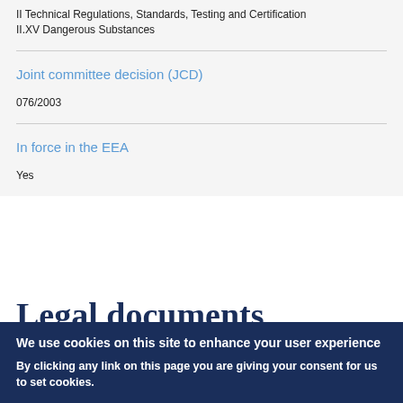II Technical Regulations, Standards, Testing and Certification
II.XV Dangerous Substances
Joint committee decision (JCD)
076/2003
In force in the EEA
Yes
Legal documents
We use cookies on this site to enhance your user experience
By clicking any link on this page you are giving your consent for us to set cookies.